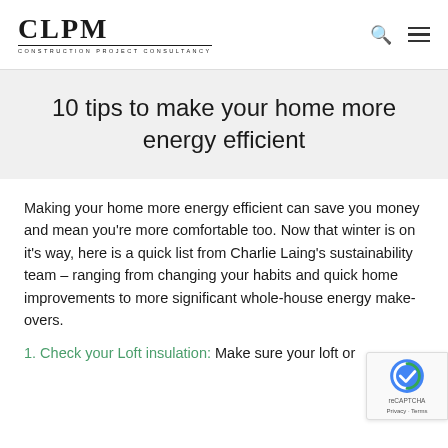CLPM CONSTRUCTION PROJECT CONSULTANCY
10 tips to make your home more energy efficient
Making your home more energy efficient can save you money and mean you're more comfortable too. Now that winter is on it's way, here is a quick list from Charlie Laing's sustainability team – ranging from changing your habits and quick home improvements to more significant whole-house energy make-overs.
1. Check your Loft insulation: Make sure your loft or